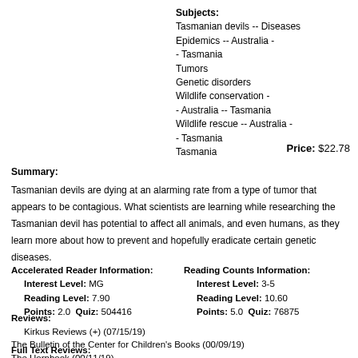Subjects: Tasmanian devils -- Diseases Epidemics -- Australia - - Tasmania Tumors Genetic disorders Wildlife conservation - - Australia -- Tasmania Wildlife rescue -- Australia - - Tasmania Tasmania
Price: $22.78
Summary:
Tasmanian devils are dying at an alarming rate from a type of tumor that appears to be contagious. What scientists are learning while researching the Tasmanian devil has potential to affect all animals, and even humans, as they learn more about how to prevent and hopefully eradicate certain genetic diseases.
Accelerated Reader Information: Interest Level: MG Reading Level: 7.90 Points: 2.0 Quiz: 504416
Reading Counts Information: Interest Level: 3-5 Reading Level: 10.60 Points: 5.0 Quiz: 76875
Reviews: Kirkus Reviews (+) (07/15/19) The Bulletin of the Center for Children's Books (00/09/19) The Hornbook (00/11/19)
Full Text Reviews: